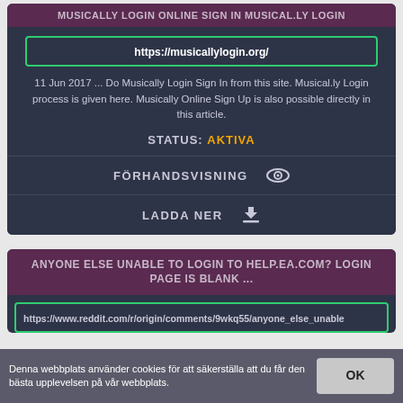MUSICALLY LOGIN ONLINE SIGN IN MUSICAL.LY LOGIN
https://musicallylogin.org/
11 Jun 2017 ... Do Musically Login Sign In from this site. Musical.ly Login process is given here. Musically Online Sign Up is also possible directly in this article.
STATUS: AKTIVA
FÖRHANDSVISNING
LADDA NER
ANYONE ELSE UNABLE TO LOGIN TO HELP.EA.COM? LOGIN PAGE IS BLANK ...
https://www.reddit.com/r/origin/comments/9wkq55/anyone_else_unable
Denna webbplats använder cookies för att säkerställa att du får den bästa upplevelsen på vår webbplats.
OK